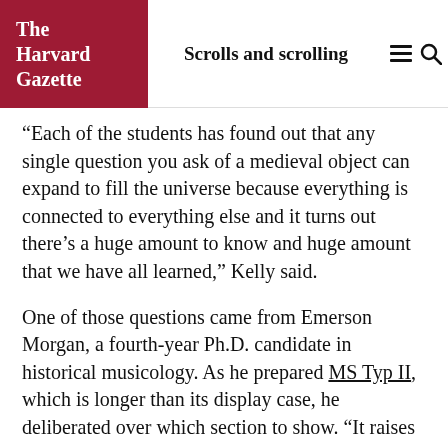The Harvard Gazette | Scrolls and scrolling
“Each of the students has found out that any single question you ask of a medieval object can expand to fill the universe because everything is connected to everything else and it turns out there’s a huge amount to know and huge amount that we have all learned,” Kelly said.
One of those questions came from Emerson Morgan, a fourth-year Ph.D. candidate in historical musicology. As he prepared MS Typ II, which is longer than its display case, he deliberated over which section to show. “It raises interesting questions about stories and how they are chopped or parsed,” Morgan said. The answer helps explain why scrolling styles on the Web are sometimes revisited and revised.